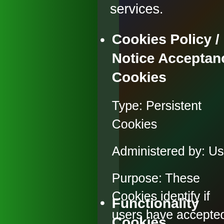services.
Cookies Policy / Notice Acceptance Cookies

Type: Persistent Cookies

Administered by: Us

Purpose: These Cookies identify if users have accepted the use of cookies on the Website.
Functionality Cookies